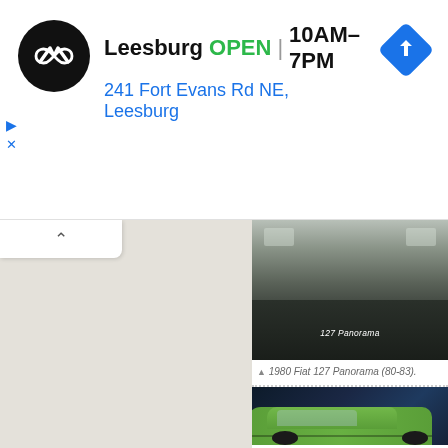[Figure (screenshot): Ad banner for CarMax Leesburg location. Black circular logo with infinity-style arrows. Text: 'Leesburg OPEN 10AM–7PM' and address '241 Fort Evans Rd NE, Leesburg'. Blue navigation/directions icon on right. Play and X control buttons on left side.]
[Figure (screenshot): Map interface: left panel shows grey map area with up-arrow tab button; right panel shows photo of 1980 Fiat 127 Panorama rear bumper with badge text '127 Panorama', caption '▲ 1980 Fiat 127 Panorama (80-83).' with dotted separator, and partial photo of green Fiat car from side angle against dark blue background.]